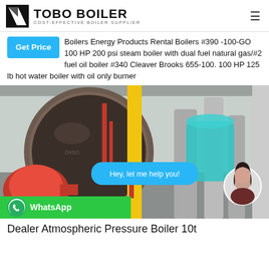TOBO BOILER COST-EFFECTIVE BOILER SUPPLIER
Boilers Energy Products Rental Boilers #390 -100-GO 100 HP 200 psi steam boiler with dual fuel natural gas/#2 fuel oil boiler #340 Cleaver Brooks 655-100. 100 HP 125 lb hot water boiler with oil only burner
[Figure (photo): Industrial boiler room showing large cylindrical boilers with red burner assemblies, yellow gas pipes, and insulated piping. Overlaid with a blue chat bubble saying 'Hey, let me help you!', a circular avatar of a woman, and a green WhatsApp button.]
Dealer Atmospheric Pressure Boiler 10t